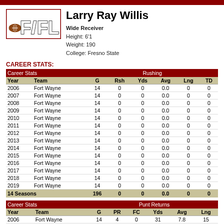Larry Ray Willis
Wide Receiver
Height: 6'1
Weight: 190
College: Fresno State
CAREER STATS:
| Career Stats (colspan 2) |  | Rushing (colspan 5) |  |  |  |  |
| --- | --- | --- | --- | --- | --- | --- |
| 2006 | Fort Wayne | 14 | 0 | 0 | 0.0 | 0 | 0 |
| 2007 | Fort Wayne | 14 | 0 | 0 | 0.0 | 0 | 0 |
| 2008 | Fort Wayne | 14 | 0 | 0 | 0.0 | 0 | 0 |
| 2009 | Fort Wayne | 14 | 0 | 0 | 0.0 | 0 | 0 |
| 2010 | Fort Wayne | 14 | 0 | 0 | 0.0 | 0 | 0 |
| 2011 | Fort Wayne | 14 | 0 | 0 | 0.0 | 0 | 0 |
| 2012 | Fort Wayne | 14 | 0 | 0 | 0.0 | 0 | 0 |
| 2013 | Fort Wayne | 14 | 0 | 0 | 0.0 | 0 | 0 |
| 2014 | Fort Wayne | 14 | 0 | 0 | 0.0 | 0 | 0 |
| 2015 | Fort Wayne | 14 | 0 | 0 | 0.0 | 0 | 0 |
| 2016 | Fort Wayne | 14 | 0 | 0 | 0.0 | 0 | 0 |
| 2017 | Fort Wayne | 14 | 0 | 0 | 0.0 | 0 | 0 |
| 2018 | Fort Wayne | 14 | 0 | 0 | 0.0 | 0 | 0 |
| 2019 | Fort Wayne | 14 | 0 | 0 | 0.0 | 0 | 0 |
| Career Stats (colspan 2) |  | Punt Returns (colspan 5) |  |  |  |  |
| --- | --- | --- | --- | --- | --- | --- |
| 2006 | Fort Wayne | 14 | 4 | 0 | 31 | 7.8 | 15 |
| 2007 | Fort Wayne | 14 | 0 | 0 | 0 | 0.0 | 0 |
| 2008 | Fort Wayne | 14 | 2 | 0 | 11 | 5.5 | 7 |
| 2009 | Fort Wayne | 14 | 4 | 0 | 5 | 5.0 | 0 |